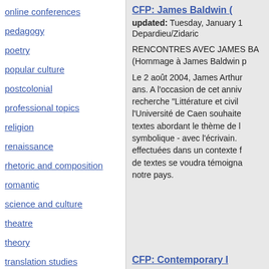online conferences
pedagogy
poetry
popular culture
postcolonial
professional topics
religion
renaissance
rhetoric and composition
romantic
science and culture
theatre
theory
translation studies
CFP: James Baldwin (
updated: Tuesday, January 1
Depardieu/Zidaric
RENCONTRES AVEC JAMES BA
(Hommage à James Baldwin p
Le 2 août 2004, James Arthur ans. A l'occasion de cet anniv recherche "Littérature et civil l'Université de Caen souhaite textes abordant le thème de l symbolique - avec l'écrivain. effectuées dans un contexte f de textes se voudra témoigna notre pays.
CFP: Contemporary I